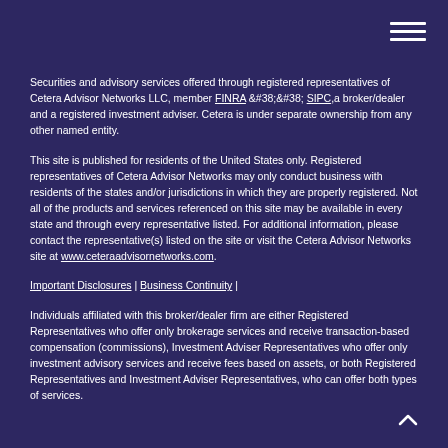Securities and advisory services offered through registered representatives of Cetera Advisor Networks LLC, member FINRA & SIPC, a broker/dealer and a registered investment adviser. Cetera is under separate ownership from any other named entity.
This site is published for residents of the United States only. Registered representatives of Cetera Advisor Networks may only conduct business with residents of the states and/or jurisdictions in which they are properly registered. Not all of the products and services referenced on this site may be available in every state and through every representative listed. For additional information, please contact the representative(s) listed on the site or visit the Cetera Advisor Networks site at www.ceteraadvisornetworks.com.
Important Disclosures | Business Continuity |
Individuals affiliated with this broker/dealer firm are either Registered Representatives who offer only brokerage services and receive transaction-based compensation (commissions), Investment Adviser Representatives who offer only investment advisory services and receive fees based on assets, or both Registered Representatives and Investment Adviser Representatives, who can offer both types of services.